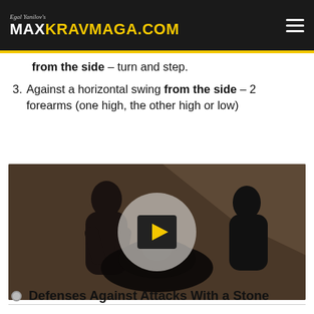Egal Yanilov's MAXKRAVMAGA.COM
from the side – turn and step.
3. Against a horizontal swing from the side – 2 forearms (one high, the other high or low)
[Figure (screenshot): Video thumbnail showing two people practicing Krav Maga techniques, with a play button overlay in the center]
Defenses Against Attacks With a Stone